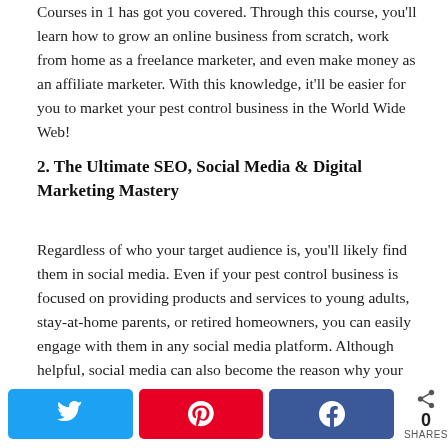Courses in 1 has got you covered. Through this course, you'll learn how to grow an online business from scratch, work from home as a freelance marketer, and even make money as an affiliate marketer. With this knowledge, it'll be easier for you to market your pest control business in the World Wide Web!
2. The Ultimate SEO, Social Media & Digital Marketing Mastery
Regardless of who your target audience is, you'll likely find them in social media. Even if your pest control business is focused on providing products and services to young adults, stay-at-home parents, or retired homeowners, you can easily engage with them in any social media platform. Although helpful, social media can also become the reason why your business will gain a negative reputation. If you don't know how to properly address complaints and